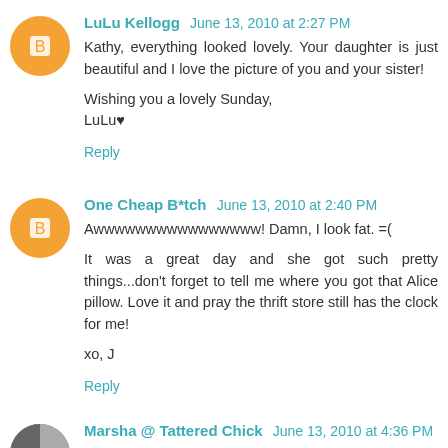LuLu Kellogg June 13, 2010 at 2:27 PM
Kathy, everything looked lovely. Your daughter is just beautiful and I love the picture of you and your sister!

Wishing you a lovely Sunday,
LuLu♥
Reply
One Cheap B*tch June 13, 2010 at 2:40 PM
Awwwwwwwwwwwwwwww! Damn, I look fat. =(

It was a great day and she got such pretty things...don't forget to tell me where you got that Alice pillow. Love it and pray the thrift store still has the clock for me!

xo, J
Reply
Marsha @ Tattered Chick June 13, 2010 at 4:36 PM